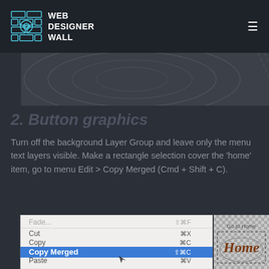WEB DESIGNER WALL
[Figure (screenshot): Decorative background image strip showing topographic/circular design elements in muted tones]
2. Button graphics
Turn off the background Layer Group and leave only the menu text layers visible. Make a rectangle selection cover the 'home' item, go to menu Edit > Copy Merged (Cmd + Shift + C).
[Figure (screenshot): Screenshot of Photoshop Edit context menu with 'Copy Merged' highlighted in blue, alongside a checkerboard preview panel showing 'Go to Home' text label and a handwritten-style 'Home' graphic with a dashed selection rectangle]